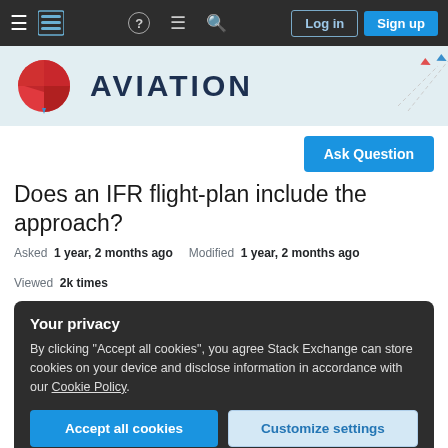Aviation Stack Exchange navigation bar with Log in and Sign up buttons
[Figure (logo): Aviation Stack Exchange logo banner with red globe/wings icon and AVIATION text on light blue background]
Ask Question
Does an IFR flight-plan include the approach?
Asked 1 year, 2 months ago   Modified 1 year, 2 months ago   Viewed 2k times
Your privacy
By clicking "Accept all cookies", you agree Stack Exchange can store cookies on your device and disclose information in accordance with our Cookie Policy.
Accept all cookies   Customize settings